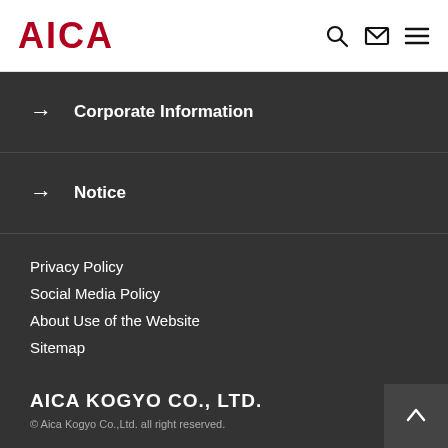AICA
→  Corporate Information
→  Notice
Privacy Policy
Social Media Policy
About Use of the Website
Sitemap
AICA KOGYO CO., LTD.
© Aica Kogyo Co.,Ltd. all right reserved.